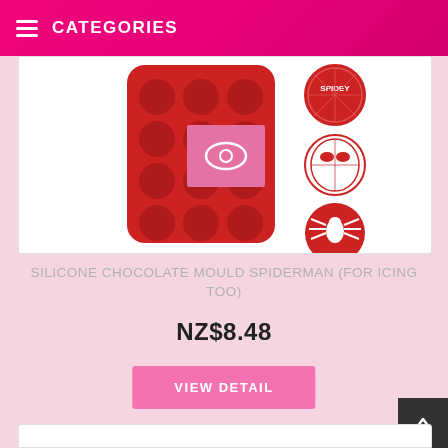CATEGORIES
[Figure (photo): Red silicone Spiderman chocolate mould with 12 circular cavities showing Spiderman-themed designs (Spidey text badge, Spiderman face mask, spider logo), with individual mould impressions shown to the right, and a pink eye/view overlay icon in the center]
SILICONE CHOCOLATE MOULD SPIDERMAN (FOR ICING TOO)
NZ$8.48
VIEW DETAIL